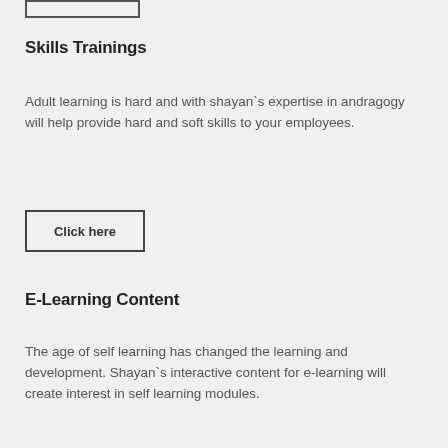[Figure (other): Partial top border/box element visible at top of page]
Skills Trainings
Adult learning is hard and with shayan`s expertise in andragogy will help provide hard and soft skills to your employees.
[Figure (other): Click here button with border]
E-Learning Content
The age of self learning has changed the learning and development. Shayan`s interactive content for e-learning will create interest in self learning modules.